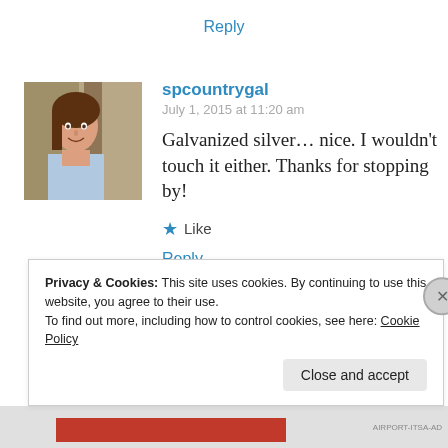Reply
spcountrygal
July 1, 2015 at 11:20 am
Galvanized silver… nice. I wouldn't touch it either. Thanks for stopping by!
★ Like
Reply
Privacy & Cookies: This site uses cookies. By continuing to use this website, you agree to their use.
To find out more, including how to control cookies, see here: Cookie Policy
Close and accept